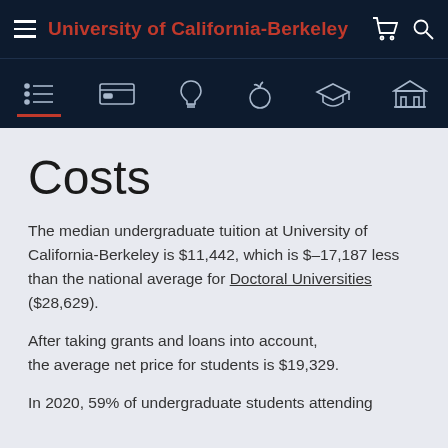University of California-Berkeley
Costs
The median undergraduate tuition at University of California-Berkeley is $11,442, which is $–17,187 less than the national average for Doctoral Universities ($28,629).
After taking grants and loans into account, the average net price for students is $19,329.
In 2020, 59% of undergraduate students attending